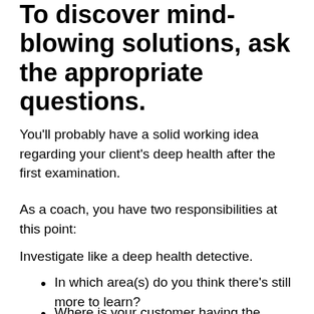To discover mind-blowing solutions, ask the appropriate questions.
You'll probably have a solid working idea regarding your client's deep health after the first examination.
As a coach, you have two responsibilities at this point:
Investigate like a deep health detective.
In which area(s) do you think there's still more to learn?
Where is your customer having the greatest